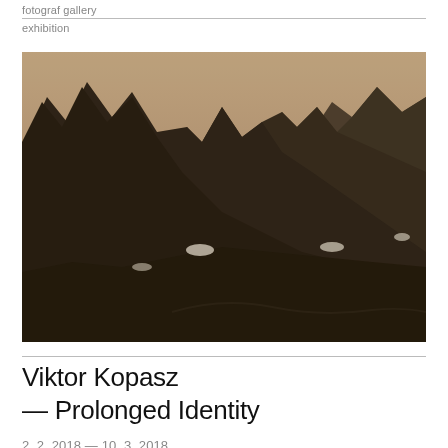fotograf gallery
exhibition
[Figure (photo): Sepia-toned black and white photograph of jagged mountain peaks with patches of snow in a valley setting, dramatic rocky landscape]
Viktor Kopasz — Prolonged Identity
2. 2. 2018 — 10. 3. 2018